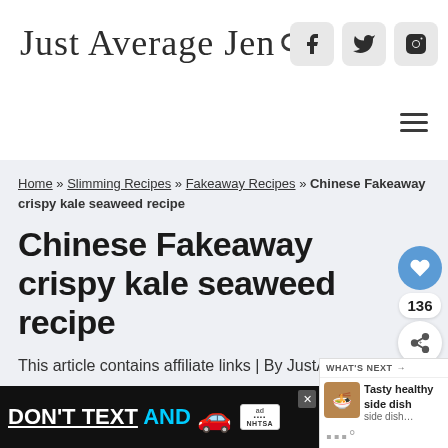Just Average Jen
Chinese Fakeaway crispy kale seaweed recipe
Home » Slimming Recipes » Fakeaway Recipes » Chinese Fakeaway crispy kale seaweed recipe
This article contains affiliate links | By JustAverageJen |
[Figure (other): Advertisement banner: DON'T TEXT AND [car emoji] with ad and NHTSA logos]
[Figure (other): What's Next widget showing Tasty healthy side dish]